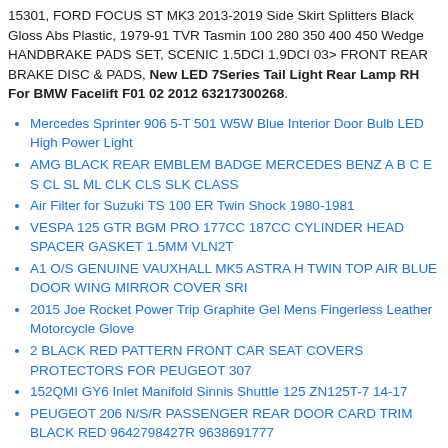15301, FORD FOCUS ST MK3 2013-2019 Side Skirt Splitters Black Gloss Abs Plastic, 1979-91 TVR Tasmin 100 280 350 400 450 Wedge HANDBRAKE PADS SET, SCENIC 1.5DCI 1.9DCI 03> FRONT REAR BRAKE DISC & PADS, New LED 7Series Tail Light Rear Lamp RH For BMW Facelift F01 02 2012 63217300268.
Mercedes Sprinter 906 5-T 501 W5W Blue Interior Door Bulb LED High Power Light
AMG BLACK REAR EMBLEM BADGE MERCEDES BENZ A B C E S CL SL ML CLK CLS SLK CLASS
Air Filter for Suzuki TS 100 ER Twin Shock 1980-1981
VESPA 125 GTR BGM PRO 177CC 187CC CYLINDER HEAD SPACER GASKET 1.5MM VLN2T
A1 O/S GENUINE VAUXHALL MK5 ASTRA H TWIN TOP AIR BLUE DOOR WING MIRROR COVER SRI
2015 Joe Rocket Power Trip Graphite Gel Mens Fingerless Leather Motorcycle Glove
2 BLACK RED PATTERN FRONT CAR SEAT COVERS PROTECTORS FOR PEUGEOT 307
152QMI GY6 Inlet Manifold Sinnis Shuttle 125 ZN125T-7 14-17
PEUGEOT 206 N/S/R PASSENGER REAR DOOR CARD TRIM BLACK RED 9642798427R 9638691777